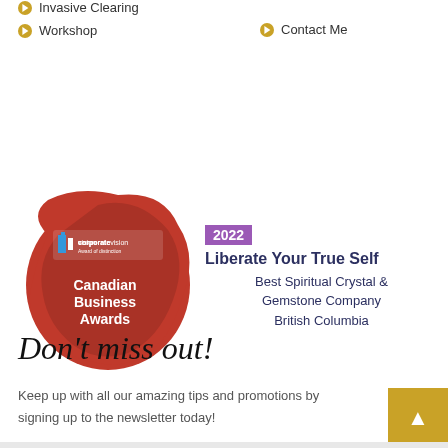Invasive Clearing
Contact Me
Workshop
[Figure (logo): Corporate Vision Canadian Business Awards 2022 badge - red blob shape with logo and text 'Canadian Business Awards' alongside text: '2022 Liberate Your True Self Best Spiritual Crystal & Gemstone Company British Columbia']
Don't miss out!
Keep up with all our amazing tips and promotions by signing up to the newsletter today!